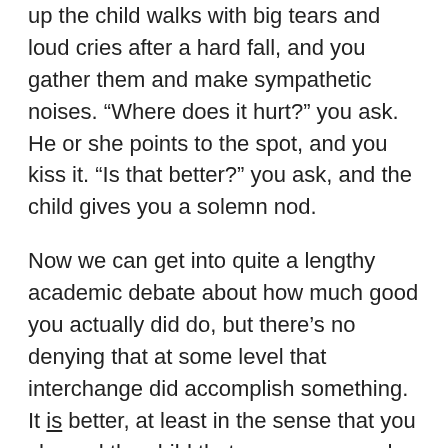up the child walks with big tears and loud cries after a hard fall, and you gather them and make sympathetic noises. “Where does it hurt?” you ask. He or she points to the spot, and you kiss it. “Is that better?” you ask, and the child gives you a solemn nod.
Now we can get into quite a lengthy academic debate about how much good you actually did do, but there’s no denying that at some level that interchange did accomplish something. It is better, at least in the sense that you showed the child that someone cared when she or he felt injured.
We are, in a way, setting up an expectation that they can seek and receive care from the assaults of the world. And – who knows? – this may be part of what is behind another curious